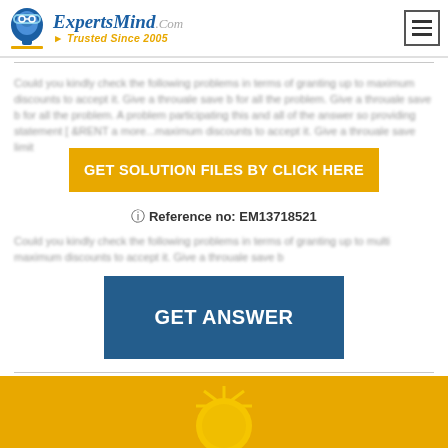[Figure (logo): ExpertsMind.com logo with blue head icon and tagline 'Trusted Since 2005']
[Figure (other): Hamburger menu button (three horizontal lines) in a square border]
Could you kindly check the following problems in terms of granting up to maximum discounts to accept it. Give a throuale save b...
[Figure (other): Orange button: GET SOLUTION FILES BY CLICK HERE]
⑦ Reference no: EM13718521
Could you kindly check the following problems in terms of granting up to multi maximum discounts to accept it. Give a throuale save b...
[Figure (other): Blue button: GET ANSWER]
[Figure (illustration): Yellow footer band with partial sun illustration at bottom]